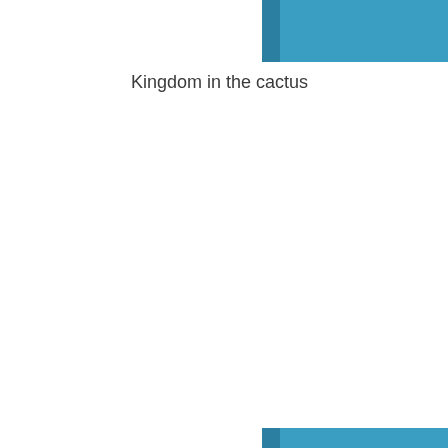[Figure (illustration): Blue rectangular block with a darker blue vertical stripe on the left side, positioned at the top center of the page]
Kingdom in the cactus
[Figure (illustration): Large blue rectangular block with a darker blue vertical stripe on the left side, positioned in the lower center of the page]